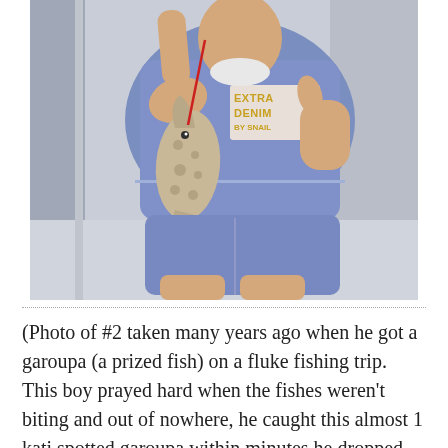[Figure (photo): A boy wearing a blue 'Extra Denim by Snail' t-shirt and shorts, holding up a spotted garoupa fish by a red line with one hand and giving a thumbs up with the other. Photo taken indoors.]
(Photo of #2 taken many years ago when he got a garoupa (a prized fish) on a fluke fishing trip. This boy prayed hard when the fishes weren't biting and out of nowhere, he caught this almost 1 kati spotted garoupa within minutes he dropped his hook into the